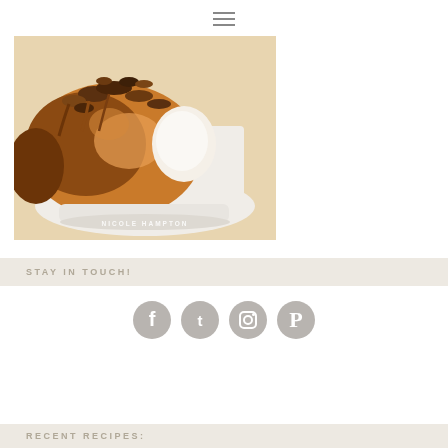≡ (hamburger menu icon)
[Figure (photo): A sticky bun / monkey bread with caramel and pecan topping on a white cake stand, with a slice cut out revealing the soft interior. Watermark text reads NICOLE HAMPTON.]
STAY IN TOUCH!
[Figure (infographic): Four circular social media icons in gray: Facebook, Twitter, Instagram, Pinterest]
RECENT RECIPES: